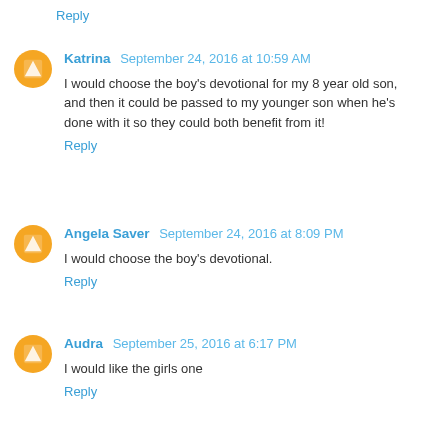Reply
Katrina  September 24, 2016 at 10:59 AM
I would choose the boy's devotional for my 8 year old son, and then it could be passed to my younger son when he's done with it so they could both benefit from it!
Reply
Angela Saver  September 24, 2016 at 8:09 PM
I would choose the boy's devotional.
Reply
Audra  September 25, 2016 at 6:17 PM
I would like the girls one
Reply